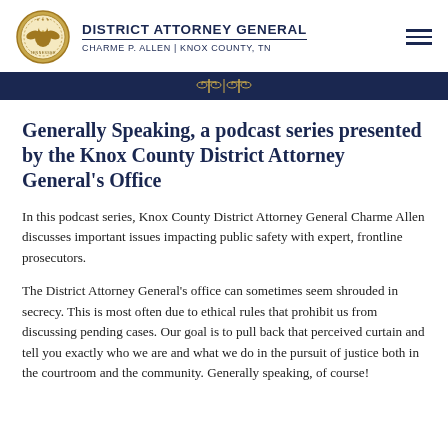DISTRICT ATTORNEY GENERAL | CHARME P. ALLEN | KNOX COUNTY, TN
Generally Speaking, a podcast series presented by the Knox County District Attorney General's Office
In this podcast series, Knox County District Attorney General Charme Allen discusses important issues impacting public safety with expert, frontline prosecutors.
The District Attorney General's office can sometimes seem shrouded in secrecy. This is most often due to ethical rules that prohibit us from discussing pending cases. Our goal is to pull back that perceived curtain and tell you exactly who we are and what we do in the pursuit of justice both in the courtroom and the community. Generally speaking, of course!